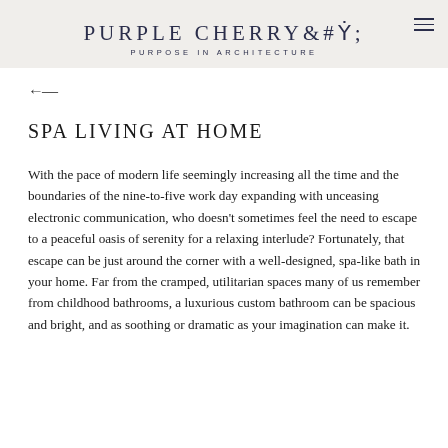PURPLE CHERRY
PURPOSE IN ARCHITECTURE
SPA LIVING AT HOME
With the pace of modern life seemingly increasing all the time and the boundaries of the nine-to-five work day expanding with unceasing electronic communication, who doesn't sometimes feel the need to escape to a peaceful oasis of serenity for a relaxing interlude? Fortunately, that escape can be just around the corner with a well-designed, spa-like bath in your home. Far from the cramped, utilitarian spaces many of us remember from childhood bathrooms, a luxurious custom bathroom can be spacious and bright, and as soothing or dramatic as your imagination can make it.